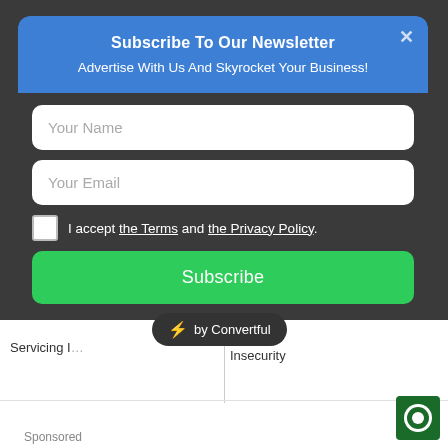Subscribe To Our Newsletter
Advertise With Us And Skyrocket Your Business!
Your Name
Your Email
I accept the Terms and the Privacy Policy.
Subscribe
Servicing I... Due To Insecurity
[Figure (logo): Convertful attribution badge with lightning bolt icon and text 'by Convertful']
[Figure (logo): Green square icon with circular chat button, bottom right corner]
Sponsored